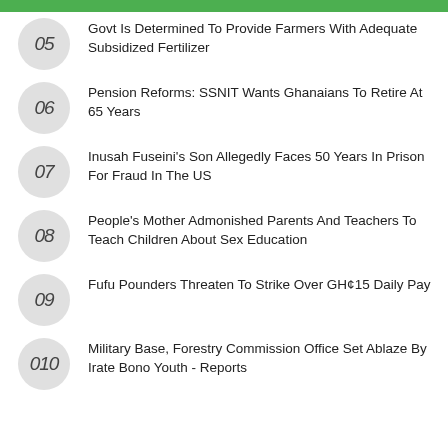05 Govt Is Determined To Provide Farmers With Adequate Subsidized Fertilizer
06 Pension Reforms: SSNIT Wants Ghanaians To Retire At 65 Years
07 Inusah Fuseini's Son Allegedly Faces 50 Years In Prison For Fraud In The US
08 People's Mother Admonished Parents And Teachers To Teach Children About Sex Education
09 Fufu Pounders Threaten To Strike Over GH¢15 Daily Pay
010 Military Base, Forestry Commission Office Set Ablaze By Irate Bono Youth - Reports